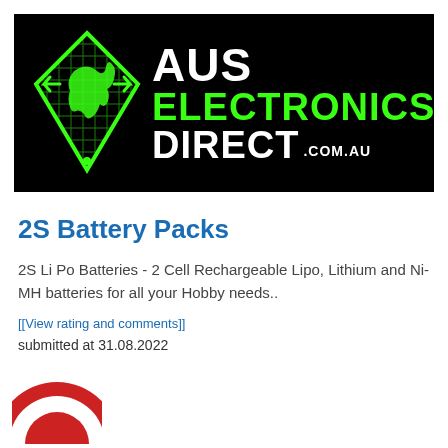[Figure (logo): Aus Electronics Direct logo: black banner with green Australia-map icon and white/green bold text reading AUS ELECTRONICS DIRECT .COM.AU]
2S Battery Packs
2S Li Po Batteries - 2 Cell Rechargeable Lipo, Lithium and Ni-MH batteries for all your Hobby needs..
[[View rating and comments]]
submitted at 31.08.2022
[Figure (logo): Partial red and white circular logo at bottom left, cropped]